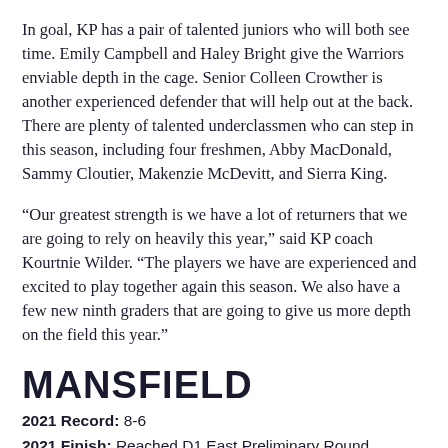In goal, KP has a pair of talented juniors who will both see time. Emily Campbell and Haley Bright give the Warriors enviable depth in the cage. Senior Colleen Crowther is another experienced defender that will help out at the back. There are plenty of talented underclassmen who can step in this season, including four freshmen, Abby MacDonald, Sammy Cloutier, Makenzie McDevitt, and Sierra King.
“Our greatest strength is we have a lot of returners that we are going to rely on heavily this year,” said KP coach Kourtnie Wilder. “The players we have are experienced and excited to play together again this season. We also have a few new ninth graders that are going to give us more depth on the field this year.”
MANSFIELD
2021 Record: 8-6
2021 Finish: Reached D1 East Preliminary Round